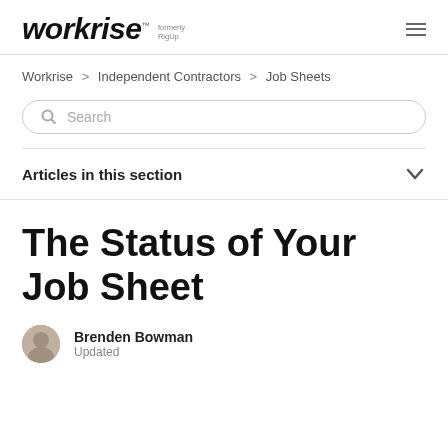workrise ™ formerly RigUp
Workrise > Independent Contractors > Job Sheets
Search
Articles in this section
The Status of Your Job Sheet
Brenden Bowman